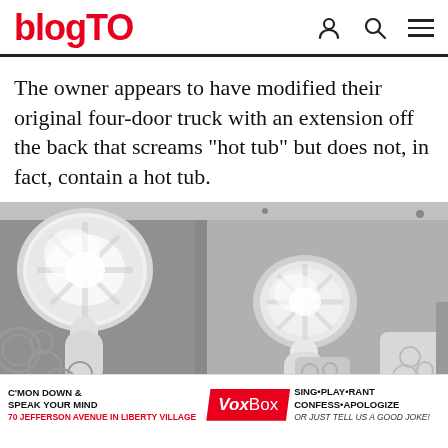blogTO
The owner appears to have modified their original four-door truck with an extension off the back that screams "hot tub" but does not, in fact, contain a hot tub.
[Figure (photo): Black and white interior photo showing ceiling lights with decorative patterns in what appears to be a modified vehicle interior with white walls and bubble-like decorations]
C'MON DOWN & SPEAK YOUR MIND VoxBox SING PLAY RANT CONFESS APOLOGIZE 70 Jefferson Avenue in Liberty Village or just tell us a good joke!